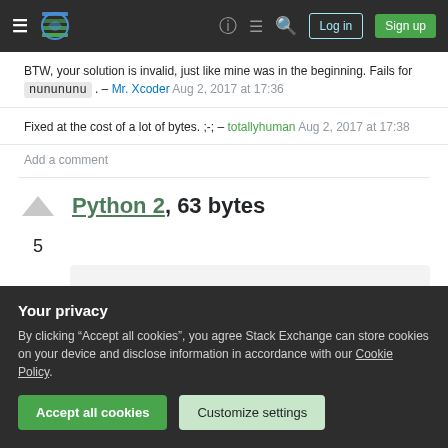Stack Exchange navigation bar with hamburger menu, logo, help, chat, search icons, Log in and Sign up buttons
BTW, your solution is invalid, just like mine was in the beginning. Fails for nunununu . – Mr. Xcoder Aug 2, 2017 at 17:36
Fixed at the cost of a lot of bytes. ;-; – totallyhuman Aug 2, 2017 at 17:38
Add a comment
Python 2, 63 bytes
[Figure (screenshot): Code block showing: lambda s:s[:3]in'ununqbqbwmwm'and s==s[:2]*]
Your privacy
By clicking “Accept all cookies”, you agree Stack Exchange can store cookies on your device and disclose information in accordance with our Cookie Policy.
Accept all cookies   Customize settings